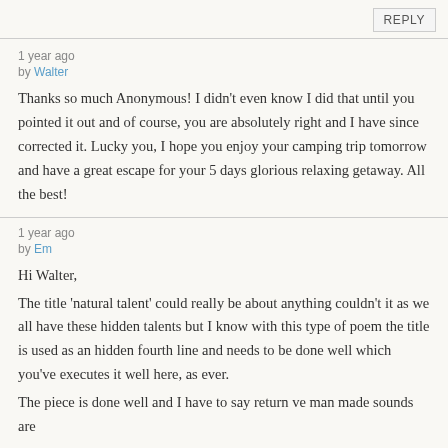REPLY
1 year ago
by Walter
Thanks so much Anonymous! I didn't even know I did that until you pointed it out and of course, you are absolutely right and I have since corrected it. Lucky you, I hope you enjoy your camping trip tomorrow and have a great escape for your 5 days glorious relaxing getaway. All the best!
1 year ago
by Em
Hi Walter,
The title 'natural talent' could really be about anything couldn't it as we all have these hidden talents but I know with this type of poem the title is used as an hidden fourth line and needs to be done well which you've executes it well here, as ever.
The piece is done well and I have to say return ve man made sounds are…